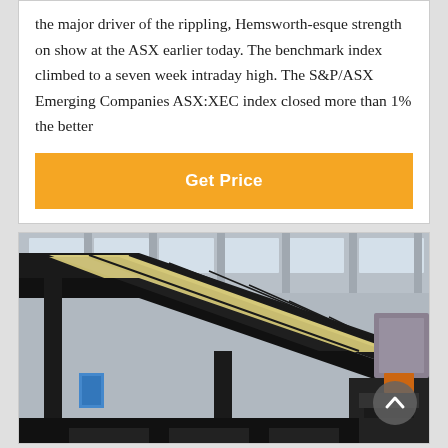the major driver of the rippling, Hemsworth-esque strength on show at the ASX earlier today. The benchmark index climbed to a seven week intraday high. The S&P/ASX Emerging Companies ASX:XEC index closed more than 1% the better
[Figure (other): Orange 'Get Price' button / call-to-action banner]
[Figure (photo): Industrial factory interior showing a large black conveyor or crane structure with yellow/cream panels, set against a background of steel framework and skylights. A circular scroll-to-top button overlay is visible in the lower right.]